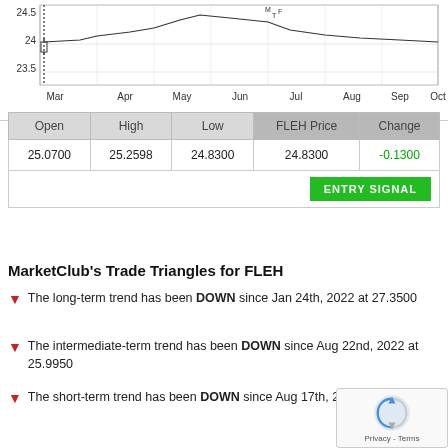[Figure (continuous-plot): Stock price chart for FLEH showing price range approximately 23.5 to 24.5+ from Mar to Oct. Y-axis labels: 24.5, 24, 23.5. X-axis labels: Mar, Apr, May, Jun, Jul, Aug, Sep, Oct.]
| Open | High | Low | FLEH Price | Change |
| --- | --- | --- | --- | --- |
| 25.0700 | 25.2598 | 24.8300 | 24.8300 | -0.1300 |
|  |  |  |  | ENTRY SIGNAL |
MarketClub's Trade Triangles for FLEH
The long-term trend has been DOWN since Jan 24th, 2022 at 27.3500
The intermediate-term trend has been DOWN since Aug 22nd, 2022 at 25.9950
The short-term trend has been DOWN since Aug 17th, 2022 at 26.3288
Smart Scan Analysis for FLEH
Based on our trend formula, FLEH is rated as a -100 o scale from -100 (Strong Downtrend) to +100 (Strong Uptrend).